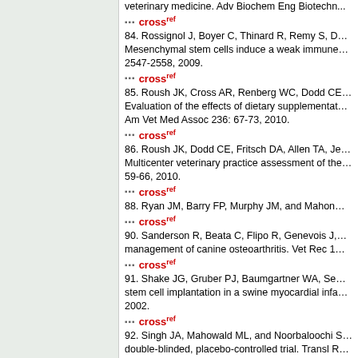veterinary medicine. Adv Biochem Eng Biotechn...
84. Rossignol J, Boyer C, Thinard R, Remy S, D... Mesenchymal stem cells induce a weak immune... 2547-2558, 2009.
85. Roush JK, Cross AR, Renberg WC, Dodd CE... Evaluation of the effects of dietary supplementat... Am Vet Med Assoc 236: 67-73, 2010.
86. Roush JK, Dodd CE, Fritsch DA, Allen TA, Je... Multicenter veterinary practice assessment of the... 59-66, 2010.
88. Ryan JM, Barry FP, Murphy JM, and Mahon...
90. Sanderson R, Beata C, Flipo R, Genevois J,... management of canine osteoarthritis. Vet Rec 1...
91. Shake JG, Gruber PJ, Baumgartner WA, Se... stem cell implantation in a swine myocardial infa... 2002.
92. Singh JA, Mahowald ML, and Noorbaloochi S... double-blinded, placebo-controlled trial. Transl R...
94. Smith GK, Paster ER, Powers MY, Lawler DR... radiographic evidence of osteoarthritis of the hi...